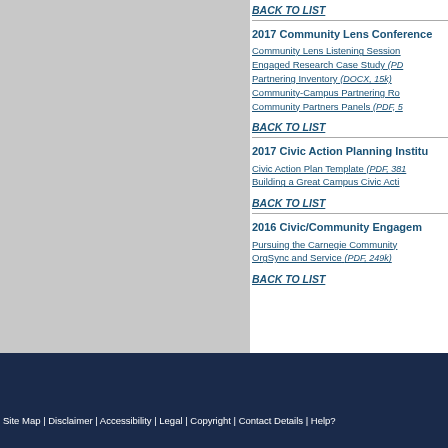BACK TO LIST
2017 Community Lens Conference
Community Lens Listening Session
Engaged Research Case Study (PDF)
Partnering Inventory (DOCX, 15k)
Community-Campus Partnering Ro
Community Partners Panels (PDF, 5)
BACK TO LIST
2017 Civic Action Planning Institu
Civic Action Plan Template (PDF, 381)
Building a Great Campus Civic Acti
BACK TO LIST
2016 Civic/Community Engagem
Pursuing the Carnegie Community
OrgSync and Service (PDF, 249k)
BACK TO LIST
Site Map | Disclaimer | Accessibility | Legal | Copyright | Contact Details | Help?